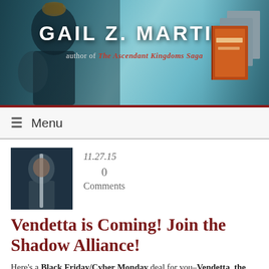[Figure (illustration): Website header banner for Gail Z. Martin author website. Teal/blue background with a dark armored fantasy figure on the left, author name 'GAIL Z. MARTIN' in large white text, tagline 'author of The Ascendant Kingdoms Saga' in red italic, and a stack of book covers on the right.]
Menu
[Figure (photo): Small square thumbnail portrait of a person, dark tones, appears to be a book cover or author photo.]
11.27.15
0
Comments
Vendetta is Coming! Join the Shadow Alliance!
Here's a Black Friday/Cyber Monday deal for you–Vendetta, the second Deadly Curiosities short story–is available for pre-order! It comes out December 29, just in time for reading after the holiday rush.